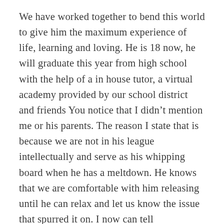We have worked together to bend this world to give him the maximum experience of life, learning and loving. He is 18 now, he will graduate this year from high school with the help of a in house tutor, a virtual academy provided by our school district and friends You notice that I didn't mention me or his parents. The reason I state that is because we are not in his league intellectually and serve as his whipping board when he has a meltdown. He knows that we are comfortable with him releasing until he can relax and let us know the issue that spurred it on. I now can tell immediately when he is struggling with the need to vacate the premises so others don't see that he is losing control. We vacate together no matter the place. He does not believe that others should have to change their behavior, space or way of thinking because he has a problem. He says it is his problem not theirs and